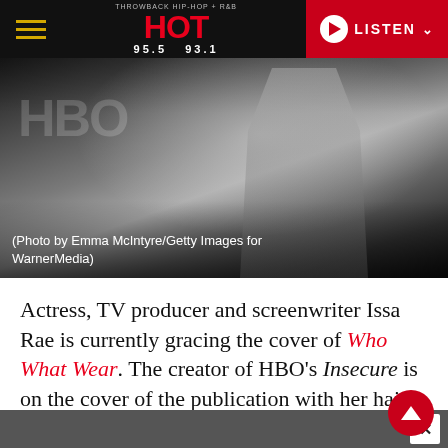HOT 95.5 93.1 — LISTEN
[Figure (photo): Black and white photo of a person at an event, partially cropped, wearing a striped top and dark jacket with HBO signage in background. Caption reads: (Photo by Emma McIntyre/Getty Images for WarnerMedia)]
(Photo by Emma McIntyre/Getty Images for WarnerMedia)
Actress, TV producer and screenwriter Issa Rae is currently gracing the cover of Who What Wear. The creator of HBO's Insecure is on the cover of the publication with her hair pulled back into a simple bun, wearing diamond heart-shaped earrings with a ton of